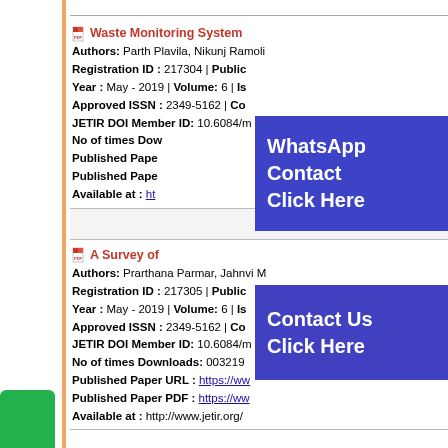Waste Monitoring System
Authors: Parth Plavila, Nikunj Ramoli
Registration ID : 217304 | Publication
Year : May - 2019 | Volume: 6 | Issue
Approved ISSN : 2349-5162 | Co
JETIR DOI Member ID: 10.6084/m
No of times Downloads:
Published Paper URL :
Published Paper PDF :
Available at : http://...
A Survey of ...
Authors: Prarthana Parmar, Jahnvi M
Registration ID : 217305 | Publication
Year : May - 2019 | Volume: 6 | Issue
Approved ISSN : 2349-5162 | Co
JETIR DOI Member ID: 10.6084/m
No of times Downloads: 003219
Published Paper URL : https://www
Published Paper PDF : https://www
Available at : http://www.jetir.org/...